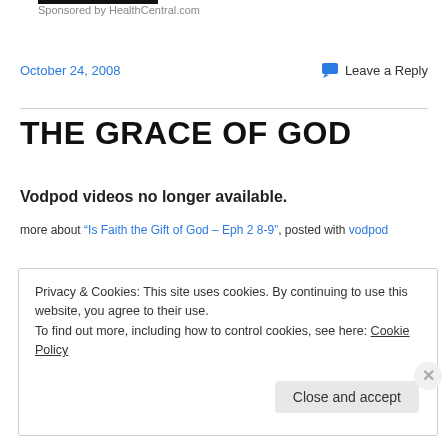Sponsored by HealthCentral.com
October 24, 2008
Leave a Reply
THE GRACE OF GOD
Vodpod videos no longer available.
more about “Is Faith the Gift of God – Eph 2 8-9”, posted with vodpod
Privacy & Cookies: This site uses cookies. By continuing to use this website, you agree to their use.
To find out more, including how to control cookies, see here: Cookie Policy
Close and accept